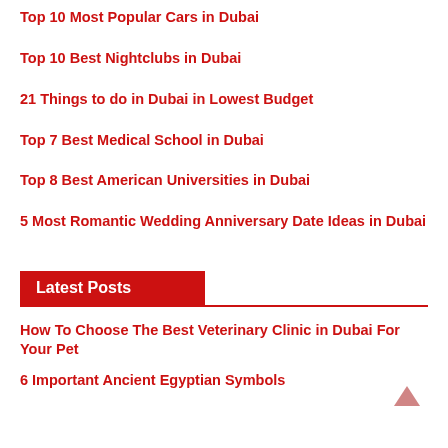Top 10 Most Popular Cars in Dubai
Top 10 Best Nightclubs in Dubai
21 Things to do in Dubai in Lowest Budget
Top 7 Best Medical School in Dubai
Top 8 Best American Universities in Dubai
5 Most Romantic Wedding Anniversary Date Ideas in Dubai
Latest Posts
How To Choose The Best Veterinary Clinic in Dubai For Your Pet
6 Important Ancient Egyptian Symbols